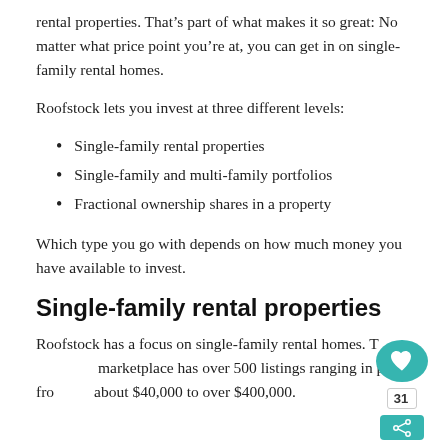rental properties. That’s part of what makes it so great: No matter what price point you’re at, you can get in on single-family rental homes.
Roofstock lets you invest at three different levels:
Single-family rental properties
Single-family and multi-family portfolios
Fractional ownership shares in a property
Which type you go with depends on how much money you have available to invest.
Single-family rental properties
Roofstock has a focus on single-family rental homes. The marketplace has over 500 listings ranging in price from about $40,000 to over $400,000.